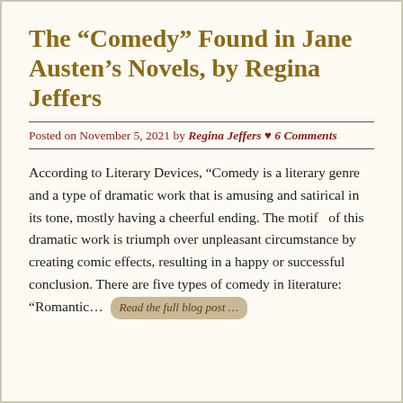The “Comedy” Found in Jane Austen’s Novels, by Regina Jeffers
Posted on November 5, 2021 by Regina Jeffers ♥ 6 Comments
According to Literary Devices, “Comedy is a literary genre and a type of dramatic work that is amusing and satirical in its tone, mostly having a cheerful ending. The motif   of this dramatic work is triumph over unpleasant circumstance by creating comic effects, resulting in a happy or successful conclusion. There are five types of comedy in literature: “Romantic… Read the full blog post …